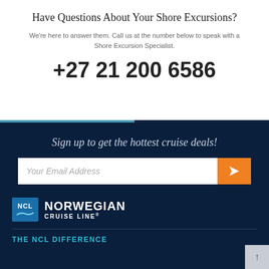Have Questions About Your Shore Excursions?
We're here to answer them. Call us at the number below to speak with a Shore Excursion Specialist.
+27 21 200 6586
Sign up to get the hottest cruise deals!
[Figure (other): Email signup form with text input placeholder 'Your Email Address' and orange submit button with right arrow]
[Figure (logo): Norwegian Cruise Line logo — NCL box icon in blue with wave, next to NORWEGIAN CRUISE LINE text in white]
THE NCL DIFFERENCE